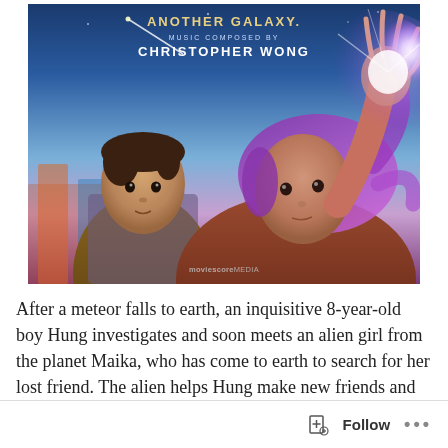[Figure (illustration): Movie soundtrack album cover showing two children – a boy on the left and a girl on the right with a glowing hand raised. Text at top reads 'ANOTHER GALAXY' with 'MUSIC COMPOSED BY CHRISTOPHER WONG'. Bottom watermark reads 'moviescore MEDIA'.]
After a meteor falls to earth, an inquisitive 8-year-old boy Hung investigates and soon meets an alien girl from the planet Maika, who has come to earth to search for her lost friend. The alien helps Hung make new friends and heal a broken heart
Follow ...